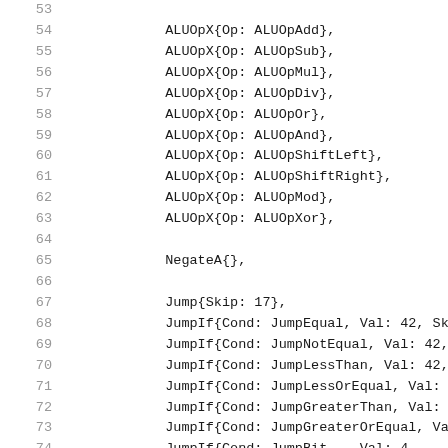53
54    ALUOpX{Op: ALUOpAdd},
55    ALUOpX{Op: ALUOpSub},
56    ALUOpX{Op: ALUOpMul},
57    ALUOpX{Op: ALUOpDiv},
58    ALUOpX{Op: ALUOpOr},
59    ALUOpX{Op: ALUOpAnd},
60    ALUOpX{Op: ALUOpShiftLeft},
61    ALUOpX{Op: ALUOpShiftRight},
62    ALUOpX{Op: ALUOpMod},
63    ALUOpX{Op: ALUOpXor},
64
65    NegateA{},
66
67    Jump{Skip: 17},
68    JumpIf{Cond: JumpEqual, Val: 42, SkipTr...
69    JumpIf{Cond: JumpNotEqual, Val: 42, Ski...
70    JumpIf{Cond: JumpLessThan, Val: 42, Ski...
71    JumpIf{Cond: JumpLessOrEqual, Val: 42, ...
72    JumpIf{Cond: JumpGreaterThan, Val: 42, ...
73    JumpIf{Cond: JumpGreaterOrEqual, Val: 4...
74    JumpIf{Cond: JumpBit... Val: 4...